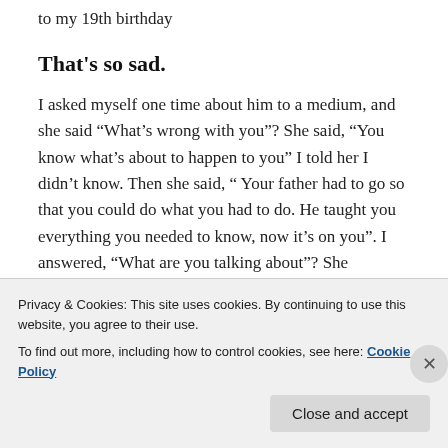to my 19th birthday
That's so sad.
I asked myself one time about him to a medium, and she said “What’s wrong with you”? She said, “You know what’s about to happen to you” I told her I didn’t know. Then she said, “ Your father had to go so that you could do what you had to do. He taught you everything you needed to know, now it’s on you”. I answered, “What are you talking about”? She exclaimed, “ I see your future, you’re gonna ride it high like a comet. You’re gonna crash it, and then
Privacy & Cookies: This site uses cookies. By continuing to use this website, you agree to their use.
To find out more, including how to control cookies, see here: Cookie Policy